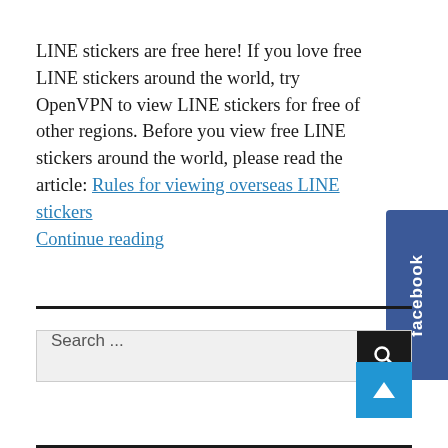LINE stickers are free here! If you love free LINE stickers around the world, try OpenVPN to view LINE stickers for free of other regions. Before you view free LINE stickers around the world, please read the article: Rules for viewing overseas LINE stickers
Continue reading
[Figure (other): Facebook social media tab/button on the right side, dark blue rectangle rotated vertically with 'facebook' text in white]
[Figure (screenshot): Search bar with placeholder text 'Search ...' and a black search button with magnifying glass icon on the right]
[Figure (other): Blue scroll-to-top button with white upward arrow chevron]